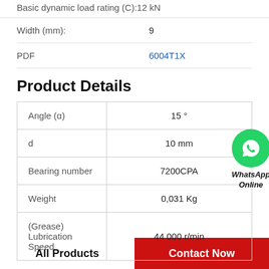|  |  |
| --- | --- |
| Basic dynamic load rating (C):12 kN |  |
| Width (mm): | 9 |
| PDF | 6004T1X |
Product Details
| Property | Value |
| --- | --- |
| Angle (α) | 15 ° |
| d | 10 mm |
| Bearing number | 7200CPA |
| Weight | 0,031 Kg |
| (Grease) Lubrication Speed | 44 000 r/min |
[Figure (illustration): WhatsApp Online contact bubble with green phone icon]
All Products    Contact Now